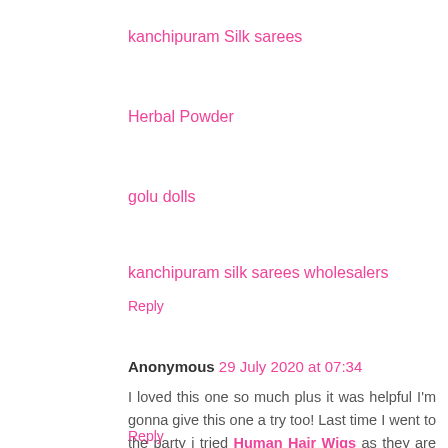kanchipuram Silk sarees
Herbal Powder
golu dolls
kanchipuram silk sarees wholesalers
Reply
Anonymous 29 July 2020 at 07:34
I loved this one so much plus it was helpful I'm gonna give this one a try too! Last time I went to the party i tried Human Hair Wigs as they are said to look pretty natural and they did! You should give them a try too!
Reply